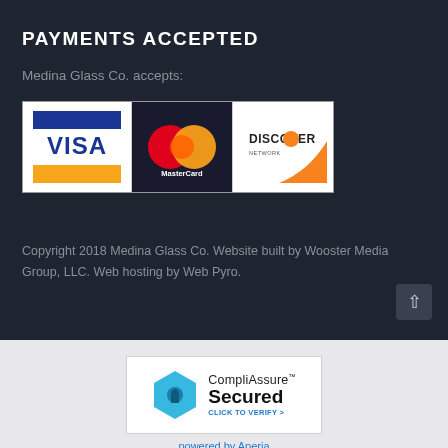PAYMENTS ACCEPTED
Medina Glass Co. accepts:
[Figure (logo): Payment method logos: VISA, MasterCard, Discover Network]
Copyright 2018 Medina Glass Co. Website built by Wooster Media Group, LLC. Web hosting by Web Pyro.
[Figure (logo): CompliAssure Secured badge with hexagon icon, CLICK TO VERIFY > link]
powered by Aperia